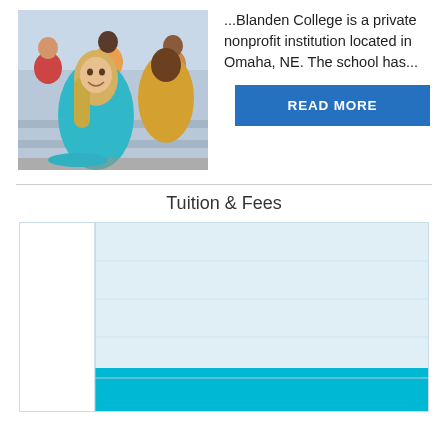[Figure (photo): Students sitting in a lecture hall/classroom, smiling young adults]
...Blanden College is a private nonprofit institution located in Omaha, NE. The school has...
READ MORE
Tuition & Fees
[Figure (bar-chart): Partial bar chart showing tuition and fees data, with a light blue background bar and a solid cyan/teal bar at the bottom]